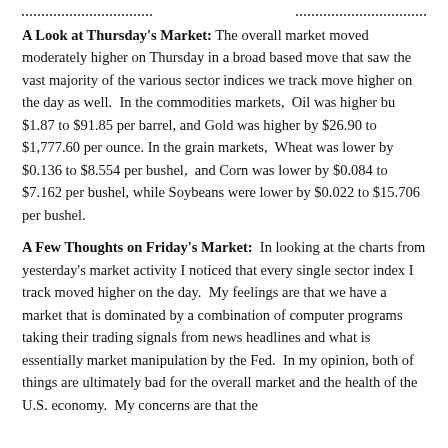A Look at Thursday's Market: The overall market moved moderately higher on Thursday in a broad based move that saw the vast majority of the various sector indices we track move higher on the day as well. In the commodities markets, Oil was higher bu $1.87 to $91.85 per barrel, and Gold was higher by $26.90 to $1,777.60 per ounce. In the grain markets, Wheat was lower by $0.136 to $8.554 per bushel, and Corn was lower by $0.084 to $7.162 per bushel, while Soybeans were lower by $0.022 to $15.706 per bushel.
A Few Thoughts on Friday's Market: In looking at the charts from yesterday's market activity I noticed that every single sector index I track moved higher on the day. My feelings are that we have a market that is dominated by a combination of computer programs taking their trading signals from news headlines and what is essentially market manipulation by the Fed. In my opinion, both of things are ultimately bad for the overall market and the health of the U.S. economy. My concerns are that the